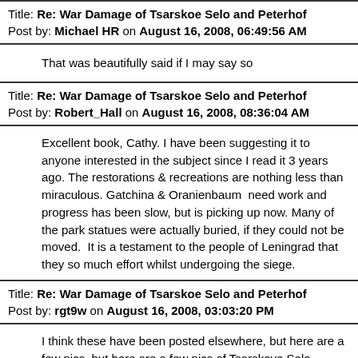Title: Re: War Damage of Tsarskoe Selo and Peterhof
Post by: Michael HR on August 16, 2008, 06:49:56 AM
That was beautifully said if I may say so
Title: Re: War Damage of Tsarskoe Selo and Peterhof
Post by: Robert_Hall on August 16, 2008, 08:36:04 AM
Excellent book, Cathy. I have been suggesting it to anyone interested in the subject since I read it 3 years ago. The restorations & recreations are nothing less than miraculous. Gatchina & Oranienbaum  need work and progress has been slow, but is picking up now. Many of the park statues were actually buried, if they could not be moved.  It is a testament to the people of Leningrad that they so much effort whilst undergoing the siege.
Title: Re: War Damage of Tsarskoe Selo and Peterhof
Post by: rgt9w on August 16, 2008, 03:03:20 PM
I think these have been posted elsewhere, but here are a few pics, but here are a few pics of Tsarskoye Selo palaces:

http://photoarchive.spb.ru:9090/www/showObject.do?object=2502299551

http://photoarchive.spb.ru:9090/www/showObject.do?